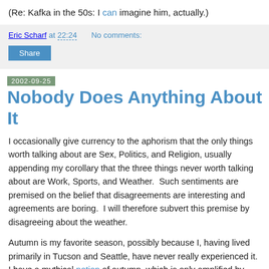(Re: Kafka in the 50s: I can imagine him, actually.)
Eric Scharf at 22:24    No comments:
Share
2002-09-25
Nobody Does Anything About It
I occasionally give currency to the aphorism that the only things worth talking about are Sex, Politics, and Religion, usually appending my corollary that the three things never worth talking about are Work, Sports, and Weather.  Such sentiments are premised on the belief that disagreements are interesting and agreements are boring.  I will therefore subvert this premise by disagreeing about the weather.

Autumn is my favorite season, possibly because I, having lived primarily in Tucson and Seattle, have never really experienced it.  I have a mythical notion of autumn, which is only amplified by such odes to oaks as yours.  Nevertheless